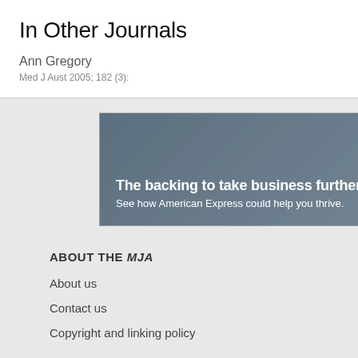In Other Journals
Ann Gregory
Med J Aust 2005; 182 (3):
[Figure (illustration): American Express advertisement banner with dark blue-grey stone background texture, white bold text reading 'The backing to take business further' and subtitle 'See how American Express could help you thrive.']
ABOUT THE MJA
About us
Contact us
Copyright and linking policy